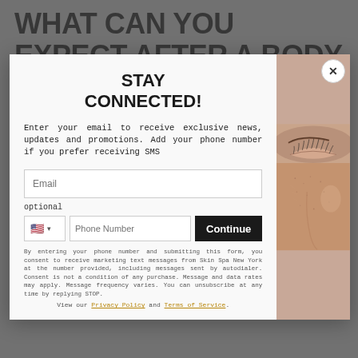WHAT CAN YOU EXPECT AFTER A BODY FX AT SKIN SPA NEW YORK
[Figure (screenshot): A modal popup dialog with 'STAY CONNECTED!' heading, email signup form, phone number field, Continue button, SMS disclaimer, Privacy Policy and Terms of Service links, and a close-up photo of a person's face on the right side.]